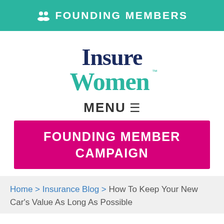👥 FOUNDING MEMBERS
[Figure (logo): InsureWomen logo — 'Insure' in dark navy bold serif, 'Women' in teal bold serif with TM mark]
MENU ☰
FOUNDING MEMBER CAMPAIGN
Home > Insurance Blog > How To Keep Your New Car's Value As Long As Possible